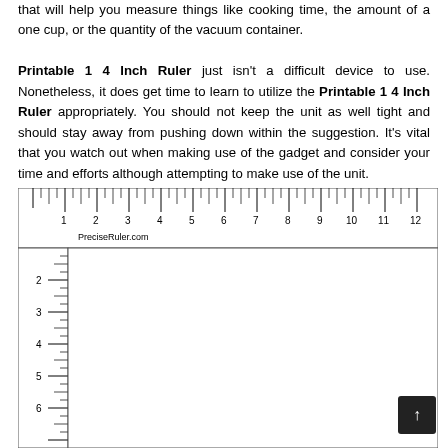that will help you measure things like cooking time, the amount of a one cup, or the quantity of the vacuum container.

Printable 1 4 Inch Ruler just isn't a difficult device to use. Nonetheless, it does get time to learn to utilize the Printable 1 4 Inch Ruler appropriately. You should not keep the unit as well tight and should stay away from pushing down within the suggestion. It's vital that you watch out when making use of the gadget and consider your time and efforts although attempting to make use of the unit.
[Figure (other): A printable ruler image showing both a horizontal ruler (1–12 inches) and a vertical ruler (1–6 inches), with tick marks and numbers, labeled PreciseRuler.com]